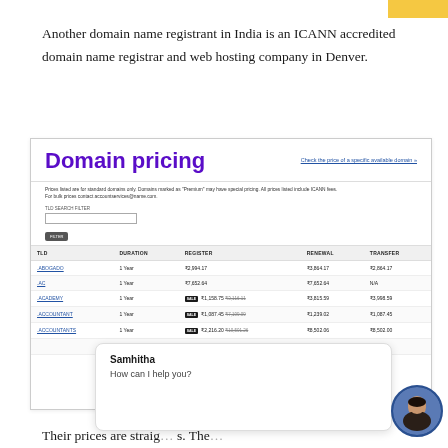Another domain name registrant in India is an ICANN accredited domain name registrar and web hosting company in Denver.
[Figure (screenshot): Screenshot of a domain pricing page showing a table with columns TLD, DURATION, REGISTER, RENEWAL, TRANSFER. Rows include .ABOGADO (1 Year, ₹2,994.17, ₹3,864.17, ₹2,864.17), .AC (1 Year, ₹7,652.64, ₹7,652.64, N/A), .ACADEMY (1 Year, SALE ₹1,158.75 strikethrough, ₹3,815.59, ₹3,998.59), .ACCOUNTANT (1 Year, SALE ₹1,087.45 strikethrough, ₹1,239.02, ₹1,087.45), .ACCOUNTANTS (1 Year, SALE ₹2,216.20 strikethrough, ₹8,502.06, ₹8,502.00). Header title is 'Domain pricing' in purple bold.]
[Figure (screenshot): Chat overlay popup showing name 'Samhitha' and message 'How can I help you?' with a circular avatar photo on the right.]
Their prices are straig... s. The...